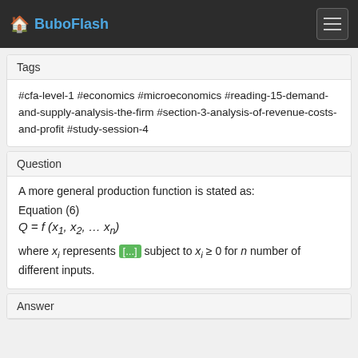BuboFlash
Tags
#cfa-level-1 #economics #microeconomics #reading-15-demand-and-supply-analysis-the-firm #section-3-analysis-of-revenue-costs-and-profit #study-session-4
Question
A more general production function is stated as:
Equation (6)
where x_i represents [...] subject to x_i ≥ 0 for n number of different inputs.
Answer